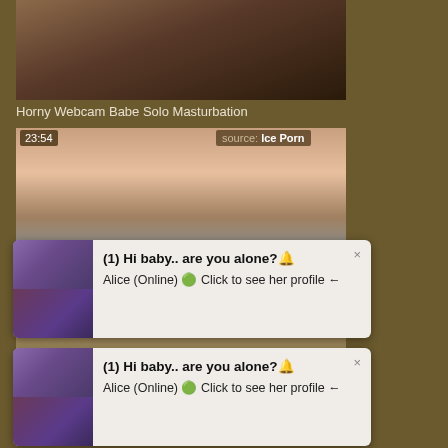[Figure (photo): Thumbnail of a woman with headphones, partial view, dark background]
Horny Webcam Babe Solo Masturbation
[Figure (photo): Close-up thumbnail with timestamp 23:54 and source label 'Ice Porn']
[Figure (screenshot): Popup notification card 1: (1) Hi baby.. are you alone?🔔 Alice (Online) 🟢 Click to see her profile ←  with close button x]
[Figure (screenshot): Popup notification card 2: (1) Hi baby.. are you alone?🔔 Alice (Online) 🟢 Click to see her profile ←  with close button x]